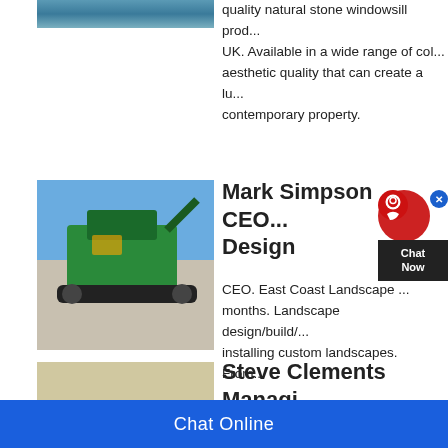[Figure (photo): Partially visible image at top left, appears to show industrial or construction equipment]
quality natural stone windowsill prod... UK. Available in a wide range of col... aesthetic quality that can create a lu... contemporary property.
[Figure (photo): Green heavy construction/mining machinery (crusher or excavator) in a quarry setting with blue sky]
Mark Simpson CEO... Design
CEO. East Coast Landscape ... months. Landscape design/build/... installing custom landscapes. From...
[Figure (photo): Yellow heavy mining/construction equipment with red/orange earth in background]
Steve Clements Managi... Coast Sales
View Steve Clements' profile on Lin... professional community. Steve has... complete profile on LinkedIn and di...
Chat Online